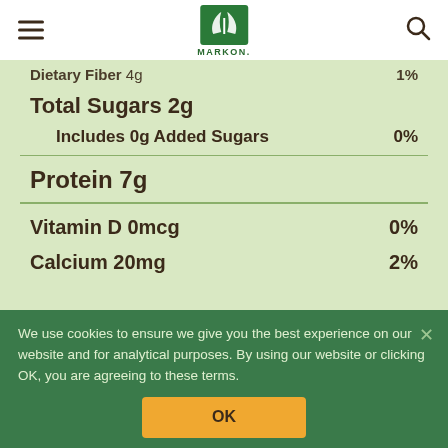MARKON. [logo with hamburger menu and search icon]
Dietary Fiber 4g
Total Sugars 2g
Includes 0g Added Sugars 0%
Protein 7g
Vitamin D 0mcg 0%
Calcium 20mg 2%
Iron 0.7mg 4%
We use cookies to ensure we give you the best experience on our website and for analytical purposes. By using our website or clicking OK, you are agreeing to these terms.
*The % Daily Value (DV) tells you how much a nutrient in a serving of food contributes to a daily diet. 2,000 calories a day is used for gene...
OK